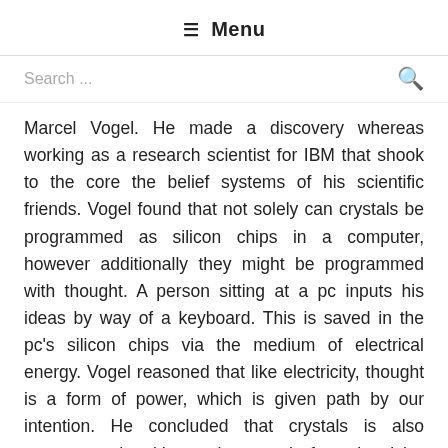☰ Menu
Search ...
Marcel Vogel. He made a discovery whereas working as a research scientist for IBM that shook to the core the belief systems of his scientific friends. Vogel found that not solely can crystals be programmed as silicon chips in a computer, however additionally they might be programmed with thought. A person sitting at a pc inputs his ideas by way of a keyboard. This is saved in the pc's silicon chips via the medium of electrical energy. Vogel reasoned that like electricity, thought is a form of power, which is given path by our intention. He concluded that crystals is also programmed without the need for electricity, through the use of just thoughts or clear intention. Vogel designed a multitude of experiments to validate his quantum theories. Like all groundbreaking alternative scientists, the mainstream scientific neighborhood ostracized him.